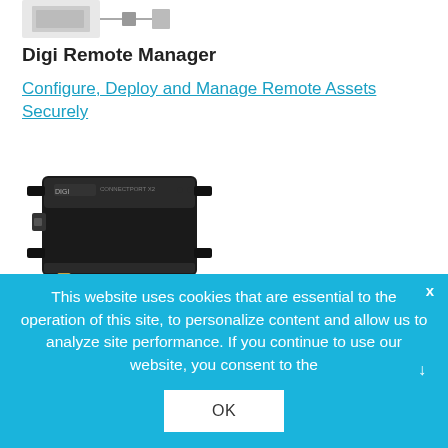[Figure (photo): Partial image of Digi Remote Manager product/device screenshot at top of page]
Digi Remote Manager
Configure, Deploy and Manage Remote Assets Securely
[Figure (photo): Digi ConnectPort X2 Gateway device — black hardware box with antenna connector]
Digi ConnectPort X2 Gateway
This website uses cookies that are essential to the operation of this site, to personalize content and allow us to analyze site performance. If you continue to use our website, you consent to the
OK